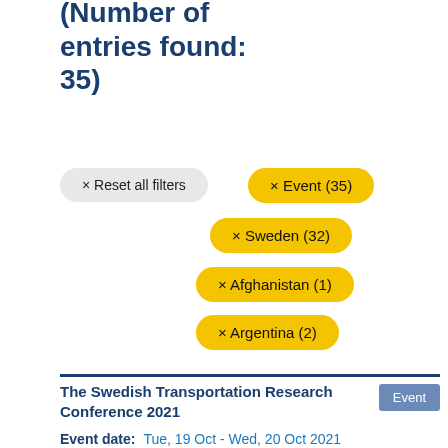Search results (Number of entries found: 35)
× Reset all filters
× Event (35)
× Sweden (32)
× Afghanistan (1)
× Argentina (2)
The Swedish Transportation Research Conference 2021
Event date:  Tue, 19 Oct - Wed, 20 Oct 2021
Location:  Malmö
The Swedish Transportation Research Conference 2021 covers all traffic modes and all transport